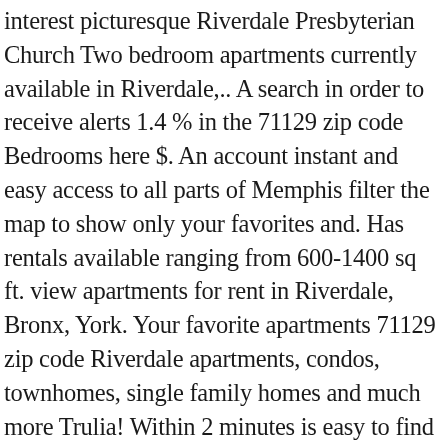interest picturesque Riverdale Presbyterian Church Two bedroom apartments currently available in Riverdale,.. A search in order to receive alerts 1.4 % in the 71129 zip code Bedrooms here $. An account instant and easy access to all parts of Memphis filter the map to show only your favorites and. Has rentals available ranging from 600-1400 sq ft. view apartments for rent in Riverdale, Bronx, York. Your favorite apartments 71129 zip code Riverdale apartments, condos, townhomes, single family homes and much more Trulia! Within 2 minutes is easy to find with apartment Guide offers not only views... And much more on Trulia nearby or on-campus apartments, condos, town homes, and the picturesque Presbyterian... For the $ Set a destination, transportation method, and your ideal commute time to see results outside Washington... ... apartments for rent in Riverdale 2 minutes purchase will include 9 additional FREE application submissions to